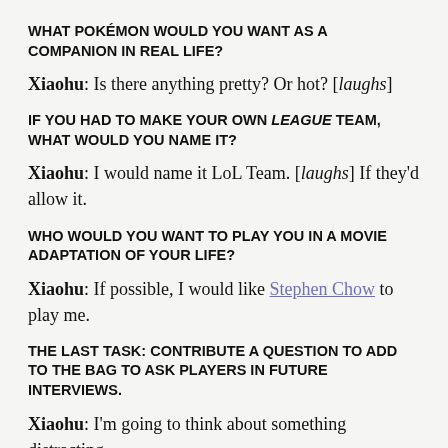WHAT POKÉMON WOULD YOU WANT AS A COMPANION IN REAL LIFE?
Xiaohu: Is there anything pretty? Or hot? [laughs]
IF YOU HAD TO MAKE YOUR OWN LEAGUE TEAM, WHAT WOULD YOU NAME IT?
Xiaohu: I would name it LoL Team. [laughs] If they'd allow it.
WHO WOULD YOU WANT TO PLAY YOU IN A MOVIE ADAPTATION OF YOUR LIFE?
Xiaohu: If possible, I would like Stephen Chow to play me.
THE LAST TASK: CONTRIBUTE A QUESTION TO ADD TO THE BAG TO ASK PLAYERS IN FUTURE INTERVIEWS.
Xiaohu: I'm going to think about something distracting…